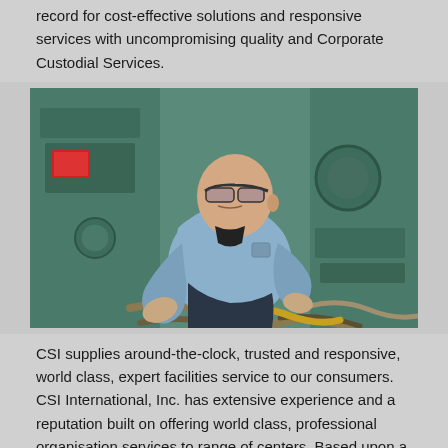record for cost-effective solutions and responsive services with uncompromising quality and Corporate Custodial Services.
[Figure (photo): A bald man wearing safety glasses and a light blue work shirt leans forward to work on large industrial green machinery with hoses and piping.]
CSI supplies around-the-clock, trusted and responsive, world class, expert facilities service to our consumers. CSI International, Inc. has extensive experience and a reputation built on offering world class, professional organisation services to range of centers. Based upon a structure's style, usages and systems, our service